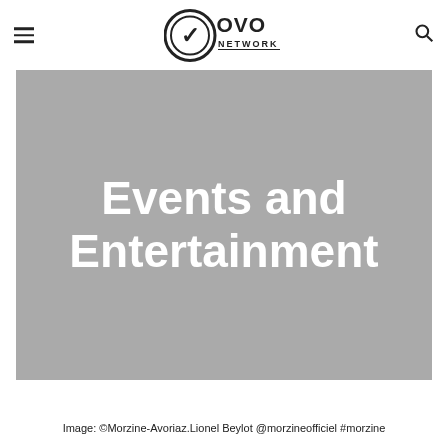OVO NETWORK
[Figure (illustration): Gray hero banner with white bold text reading 'Events and Entertainment' centered on the banner]
Events and Entertainment
Image: ©Morzine-Avoriaz.Lionel Beylot @morzineofficiel #morzine